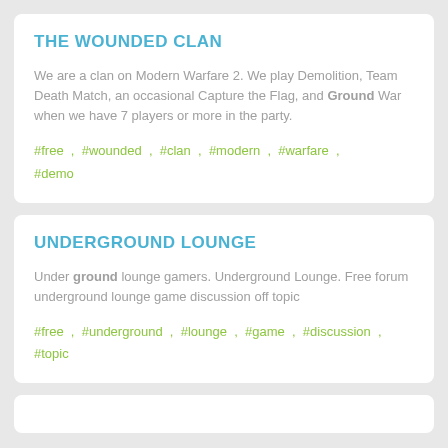THE WOUNDED CLAN
We are a clan on Modern Warfare 2. We play Demolition, Team Death Match, an occasional Capture the Flag, and Ground War when we have 7 players or more in the party.
#free , #wounded , #clan , #modern , #warfare , #demo
UNDERGROUND LOUNGE
Under ground lounge gamers. Underground Lounge. Free forum underground lounge game discussion off topic
#free , #underground , #lounge , #game , #discussion , #topic